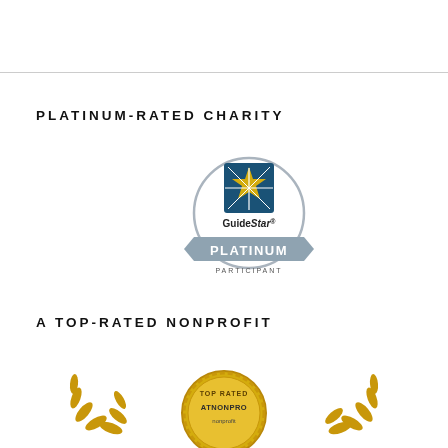PLATINUM-RATED CHARITY
[Figure (logo): GuideStar Platinum Participant badge — circular silver seal with blue square star icon above a silver ribbon banner reading 'GUIDESTAR PLATINUM PARTICIPANT']
A TOP-RATED NONPROFIT
[Figure (logo): Two partial gold laurel/leaf emblems on left and right, and a gold circular 'Top Rated Nonprofit' seal badge in the center, partially cropped at bottom of page]